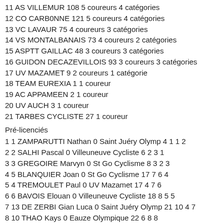11 AS VILLEMUR 108 5 coureurs 4 catégories
12 CO CARB0NNE 121 5 coureurs 4 catégories
13 VC LAVAUR 75 4 coureurs 3 catégories
14 VS MONTALBANAIS 73 4 coureurs 2 catégories
15 ASPTT GAILLAC 48 3 coureurs 3 catégories
16 GUIDON DECAZEVILLOIS 93 3 coureurs 3 catégories
17 UV MAZAMET 9 2 coureurs 1 catégorie
18 TEAM EUREXIA 1 1 coureur
19 AC APPAMEEN 2 1 coureur
20 UV AUCH 3 1 coureur
21 TARBES CYCLISTE 27 1 coureur
Pré-licenciés
1 1 ZAMPARUTTI Nathan 0 Saint Juéry Olymp 4 1 1 2
2 2 SALHI Pascal 0 Villeuneuve Cycliste 6 2 3 1
3 3 GREGOIRE Marvyn 0 St Go Cyclisme 8 3 2 3
4 5 BLANQUIER Joan 0 St Go Cyclisme 17 7 6 4
5 4 TREMOULET Paul 0 UV Mazamet 17 4 7 6
6 6 BAVOIS Elouan 0 Villeuneuve Cycliste 18 8 5 5
7 13 DE ZERBI Gian Luca 0 Saint Juéry Olymp 21 10 4 7
8 10 THAO Kays 0 Eauze Olympique 22 6 8 8
9 7 JNAOUI Celya F US Fronton 23 5 9 9
10 11 DE ZERBI Ambre Giulia F Team 12 31 11 10 10
11 8 DEHEM Nathael 0 Eauze Olympique 31 9 11 11